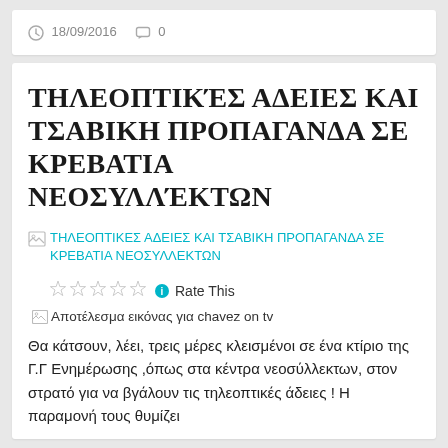18/09/2016  0
ΤΗΛΕΟΠΤΙΚΈΣ ΑΔΕΙΕΣ ΚΑΙ ΤΣΑΒΙΚΗ ΠΡΟΠΑΓΑΝΔΑ ΣΕ ΚΡΕΒΑΤΙΑ ΝΕΟΣΥΛΛΈΚΤΩΝ
[Figure (photo): Broken image placeholder with alt text: ΤΗΛΕΟΠΤΙΚΕΣ ΑΔΕΙΕΣ ΚΑΙ ΤΣΑΒΙΚΗ ΠΡΟΠΑΓΑΝΔΑ ΣΕ ΚΡΕΒΑΤΙΑ ΝΕΟΣΥΛΛΕΚΤΩΝ]
Rate This
[Figure (photo): Broken image placeholder with alt text: Αποτέλεσμα εικόνας για chavez on tv]
Θα κάτσουν, λέει, τρεις  μέρες κλεισμένοι σε ένα κτίριο της Γ.Γ Ενημέρωσης ,όπως στα κέντρα νεοσύλλεκτων, στον στρατό για να βγάλουν τις τηλεοπτικές άδειες ! Η παραμονή τους θυμίζει